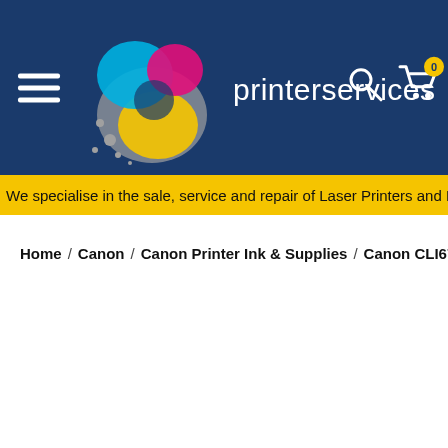printerservices — navigation header with logo, search and cart icons
We specialise in the sale, service and repair of Laser Printers and M
Home / Canon / Canon Printer Ink & Supplies / Canon CLI671 Black Ink Cartridge